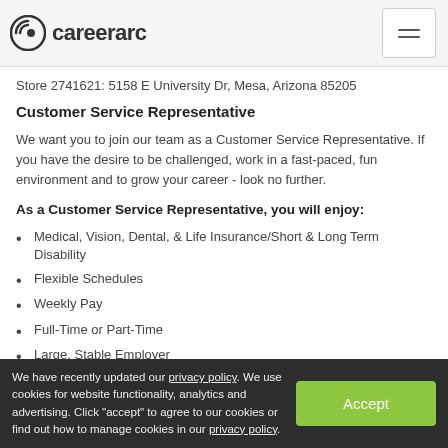careerarc
Store 2741621: 5158 E University Dr, Mesa, Arizona 85205
Customer Service Representative
We want you to join our team as a Customer Service Representative. If you have the desire to be challenged, work in a fast-paced, fun environment and to grow your career - look no further.
As a Customer Service Representative, you will enjoy:
Medical, Vision, Dental, & Life Insurance/Short & Long Term Disability
Flexible Schedules
Weekly Pay
Full-Time or Part-Time
Large, Stable Employer
Fast Career Opportunities
We have recently updated our privacy policy. We use cookies for website functionality, analytics and advertising. Click "accept" to agree to our cookies or find out how to manage cookies in our privacy policy.